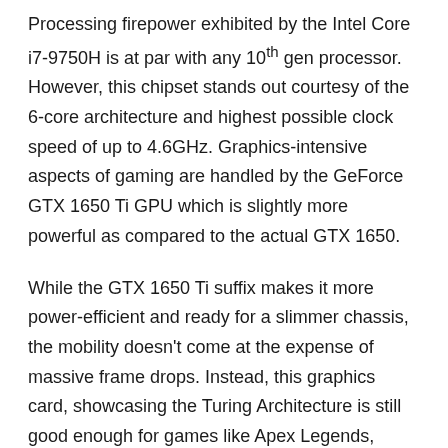Processing firepower exhibited by the Intel Core i7-9750H is at par with any 10th gen processor. However, this chipset stands out courtesy of the 6-core architecture and highest possible clock speed of up to 4.6GHz. Graphics-intensive aspects of gaming are handled by the GeForce GTX 1650 Ti GPU which is slightly more powerful as compared to the actual GTX 1650.
While the GTX 1650 Ti suffix makes it more power-efficient and ready for a slimmer chassis, the mobility doesn't come at the expense of massive frame drops. Instead, this graphics card, showcasing the Turing Architecture is still good enough for games like Apex Legends, Strange Brigade, and more.
As far as multitasking preferences go, the 16GB RAM is a